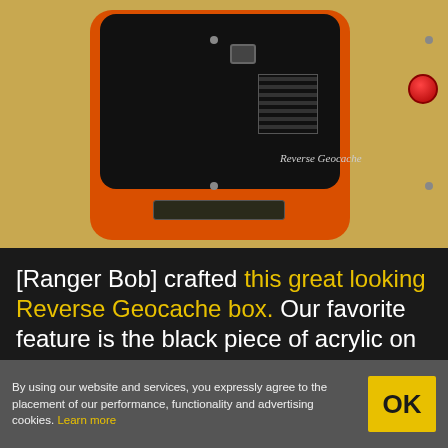[Figure (photo): Orange and black Reverse Geocache box sitting on a yellow surface. The top panel is black acrylic with four screws, a USB port, a QR code, a red button, and the text 'Reverse Geocache'. The orange body has an LCD slot on the front.]
[Ranger Bob] crafted this great looking Reverse Geocache box. Our favorite feature is the black piece of acrylic on top. It’s laser cut
By using our website and services, you expressly agree to the placement of our performance, functionality and advertising cookies. Learn more